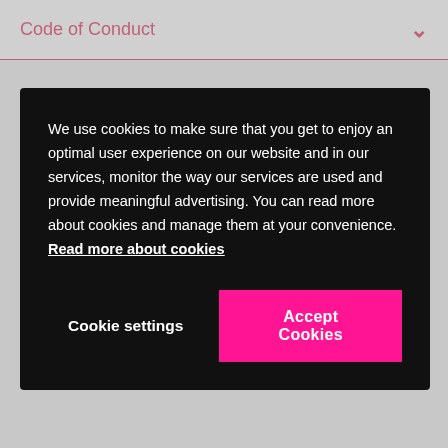Code of Conduct
We use cookies to make sure that you get to enjoy an optimal user experience on our website and in our services, monitor the way our services are used and provide meaningful advertising. You can read more about cookies and manage them at your convenience. Read more about cookies
Cookie settings
Accept Cookies
confidential unless you agree otherwise.
All reported concerns are taken seriously and given fair and objective follow-up. The reports are first received and reviewed by Group Internal Audit & Investigation (GIAI). In cases that present serious allegations or concerns, GIAI will undertake an independent investigation to clarify relevant facts. Other cases are transferred to the Business Unit and managed by an